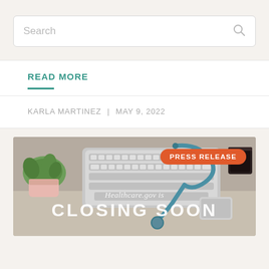Search
READ MORE
KARLA MARTINEZ  |  MAY 9, 2022
[Figure (photo): Desk scene with keyboard, stethoscope, plant, and coffee cup. Orange pill-shaped badge reads PRESS RELEASE. Overlaid text: Healthcare.gov is CLOSING SOON]
Healthcare.gov is
CLOSING SOON